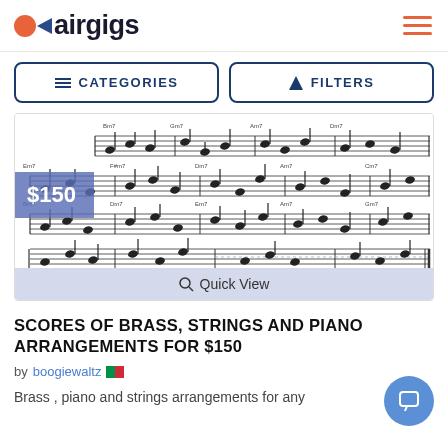airgigs
CATEGORIES
FILTERS
[Figure (screenshot): Sheet music score showing musical notation across four staves with notes, chord symbols and dynamic markings]
$150
Quick View
SCORES OF BRASS, STRINGS AND PIANO ARRANGEMENTS FOR $150
by boogiewaltz 🇮🇹
Brass , piano and strings arrangements for any